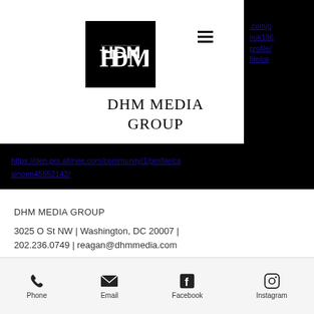[Figure (logo): DHM Media Group logo: black square with white stylized HDM monogram]
DHM MEDIA GROUP
https://den.prs.altinee.com/community/1/profile/ca sinoen45552142/
DHM MEDIA GROUP
3025 O St NW | Washington, DC 20007 | 202.236.0749 | reagan@dhmmedia.com
[Figure (infographic): Bottom navigation bar with Phone, Email, Facebook, Instagram icons and labels]